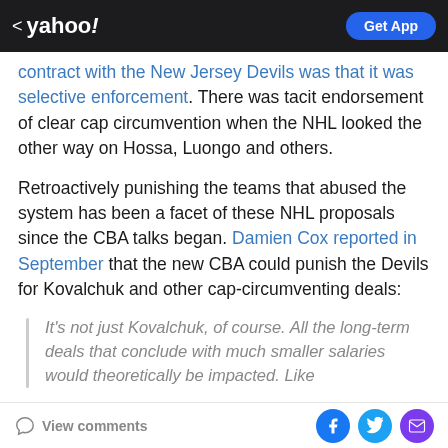< yahoo!   Get App
contract with the New Jersey Devils was that it was selective enforcement. There was tacit endorsement of clear cap circumvention when the NHL looked the other way on Hossa, Luongo and others.
Retroactively punishing the teams that abused the system has been a facet of these NHL proposals since the CBA talks began. Damien Cox reported in September that the new CBA could punish the Devils for Kovalchuk and other cap-circumventing deals:
It's not just Kovalchuk, of course. All the long-term deals that conclude with much smaller salaries would theoretically be impacted. Like
View comments